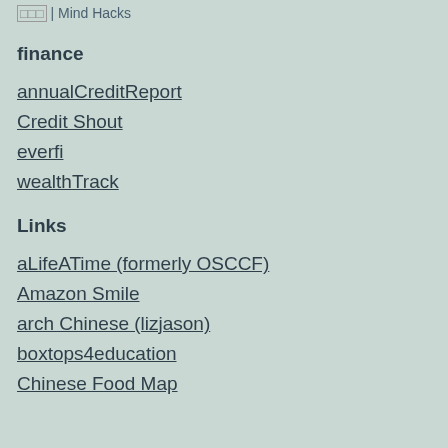□□□ | Mind Hacks
finance
annualCreditReport
Credit Shout
everfi
wealthTrack
Links
aLifeATime (formerly OSCCF)
Amazon Smile
arch Chinese (lizjason)
boxtops4education
Chinese Food Map